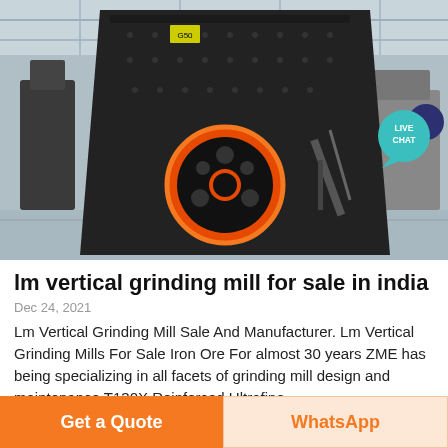[Figure (photo): Industrial vertical grinding mill machine (dark metal body with orange circular element) photographed on a factory/exhibition floor]
lm vertical grinding mill for sale in india
Dec 24, 2021
Lm Vertical Grinding Mill Sale And Manufacturer. Lm Vertical Grinding Mills For Sale Iron Ore For almost 30 years ZME has being specializing in all facets of grinding mill design and maintenance T130X Reinforced Ultrafine